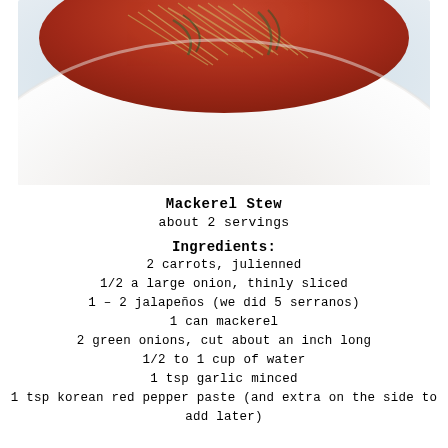[Figure (photo): A white bowl containing mackerel stew with julienned vegetables (bean sprouts, greens) in a reddish-orange broth, photographed from above on a white background.]
Mackerel Stew
about 2 servings
Ingredients:
2 carrots, julienned
1/2 a large onion, thinly sliced
1 – 2 jalapeños (we did 5 serranos)
1 can mackerel
2 green onions, cut about an inch long
1/2 to 1 cup of water
1 tsp garlic minced
1 tsp korean red pepper paste (and extra on the side to add later)